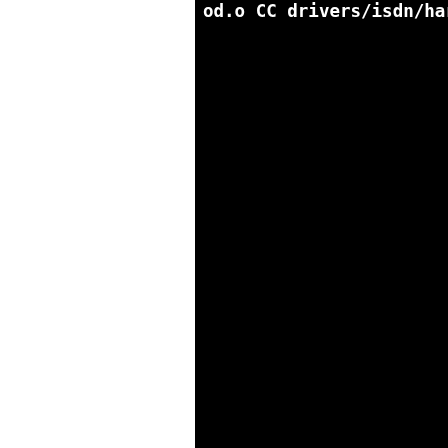[Figure (screenshot): Terminal/console output showing compilation commands for Linux ISDN drivers. Black background with white monospace text on the right panel, white background on the left panel. Lines show CC commands and object file outputs for drivers/isdn/hardware paths.]